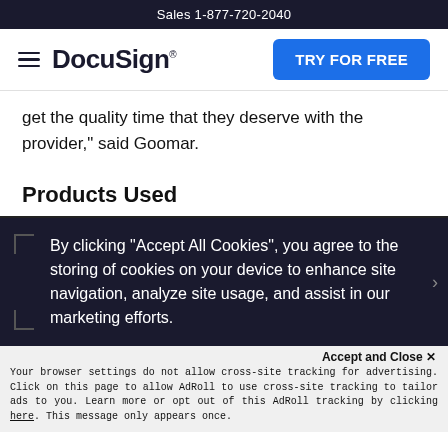Sales 1-877-720-2040
[Figure (logo): DocuSign logo with hamburger menu icon and TRY FOR FREE blue button]
get the quality time that they deserve with the provider," said Goomar.
Products Used
By clicking “Accept All Cookies”, you agree to the storing of cookies on your device to enhance site navigation, analyze site usage, and assist in our marketing efforts.
Accept and Close ×
Your browser settings do not allow cross-site tracking for advertising. Click on this page to allow AdRoll to use cross-site tracking to tailor ads to you. Learn more or opt out of this AdRoll tracking by clicking here. This message only appears once.